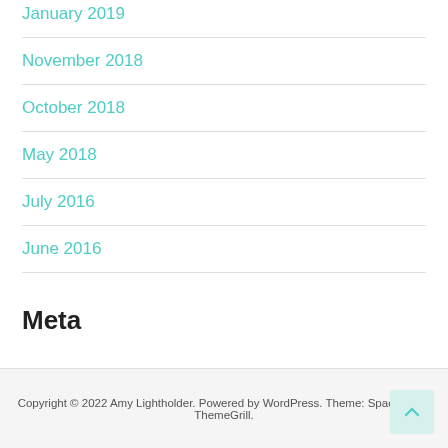January 2019
November 2018
October 2018
May 2018
July 2016
June 2016
Meta
Log in
Copyright © 2022 Amy Lightholder. Powered by WordPress. Theme: Spacious by ThemeGrill.